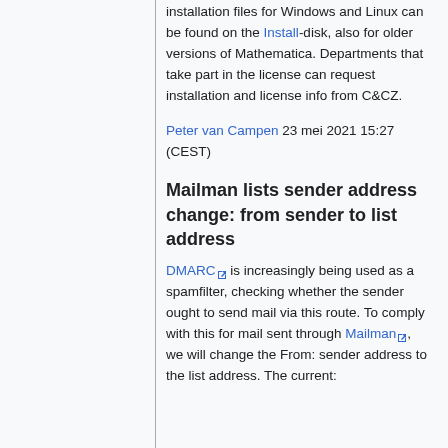Installation files for Windows and Linux can be found on the Install-disk, also for older versions of Mathematica. Departments that take part in the license can request installation and license info from C&CZ.
Peter van Campen 23 mei 2021 15:27 (CEST)
Mailman lists sender address change: from sender to list address
DMARC is increasingly being used as a spamfilter, checking whether the sender ought to send mail via this route. To comply with this for mail sent through Mailman, we will change the From: sender address to the list address. The current: